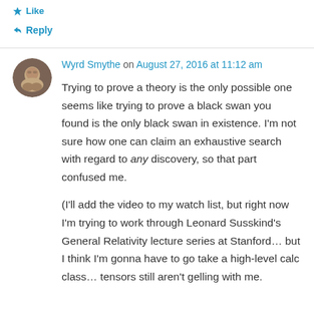Like
↳ Reply
Wyrd Smythe on August 27, 2016 at 11:12 am
Trying to prove a theory is the only possible one seems like trying to prove a black swan you found is the only black swan in existence. I'm not sure how one can claim an exhaustive search with regard to any discovery, so that part confused me.

(I'll add the video to my watch list, but right now I'm trying to work through Leonard Susskind's General Relativity lecture series at Stanford… but I think I'm gonna have to go take a high-level calc class… tensors still aren't gelling with me.